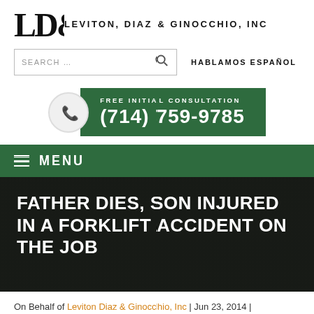[Figure (logo): LD&G Leviton, Diaz & Ginocchio, Inc logo with stylized block letters]
[Figure (screenshot): Search bar with search icon and HABLAMOS ESPAÑOL text]
[Figure (infographic): Green banner with phone icon circle: FREE INITIAL CONSULTATION (714) 759-9785]
MENU
FATHER DIES, SON INJURED IN A FORKLIFT ACCIDENT ON THE JOB
On Behalf of Leviton Diaz & Ginocchio, Inc | Jun 23, 2014 | News